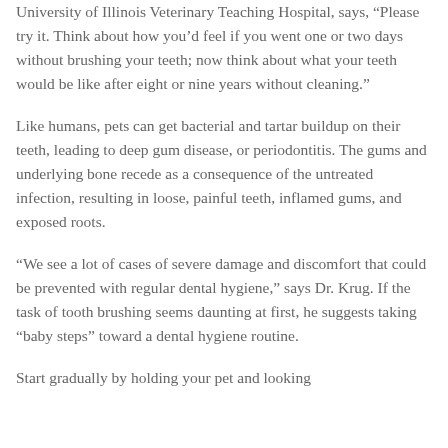University of Illinois Veterinary Teaching Hospital, says, “Please try it. Think about how you’d feel if you went one or two days without brushing your teeth; now think about what your teeth would be like after eight or nine years without cleaning.”
Like humans, pets can get bacterial and tartar buildup on their teeth, leading to deep gum disease, or periodontitis. The gums and underlying bone recede as a consequence of the untreated infection, resulting in loose, painful teeth, inflamed gums, and exposed roots.
“We see a lot of cases of severe damage and discomfort that could be prevented with regular dental hygiene,” says Dr. Krug. If the task of tooth brushing seems daunting at first, he suggests taking “baby steps” toward a dental hygiene routine.
Start gradually by holding your pet and looking